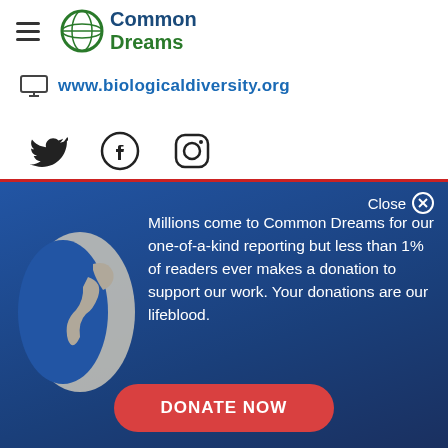Common Dreams
www.biologicaldiversity.org
[Figure (illustration): Twitter, Facebook, and Instagram social media icons in a row]
Close
Millions come to Common Dreams for our one-of-a-kind reporting but less than 1% of readers ever makes a donation to support our work. Your donations are our lifeblood.
DONATE NOW